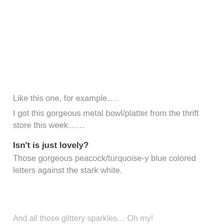Like this one, for example….
I got this gorgeous metal bowl/platter from the thrift store this week……
Isn't is just lovely?
Those gorgeous peacock/turquoise-y blue colored letters against the stark white.
And all those glittery sparkles…  Oh my!